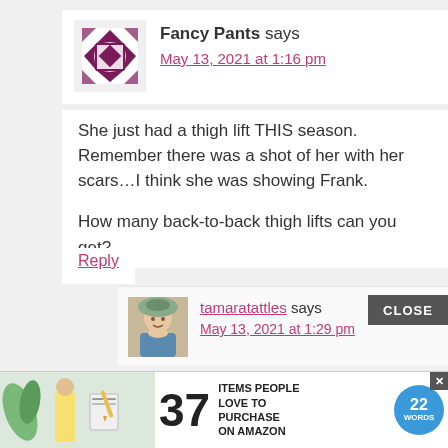Fancy Pants says
May 13, 2021 at 1:16 pm
She just had a thigh lift THIS season. Remember there was a shot of her with her scars…I think she was showing Frank.

How many back-to-back thigh lifts can you get?
Reply
tamaratattles says
May 13, 2021 at 1:29 pm
I feel like people that have m...
[Figure (screenshot): Advertisement banner: 37 ITEMS PEOPLE LOVE TO PURCHASE ON AMAZON with 22 Words badge logo]